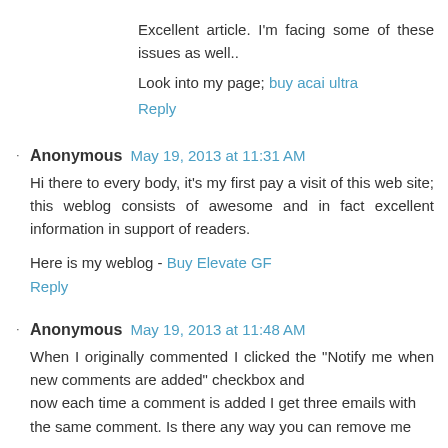Excellent article. I'm facing some of these issues as well..
Look into my page; buy acai ultra
Reply
Anonymous  May 19, 2013 at 11:31 AM
Hi there to every body, it's my first pay a visit of this web site; this weblog consists of awesome and in fact excellent information in support of readers.
Here is my weblog - Buy Elevate GF
Reply
Anonymous  May 19, 2013 at 11:48 AM
When I originally commented I clicked the "Notify me when new comments are added" checkbox and now each time a comment is added I get three emails with the same comment. Is there any way you can remove me